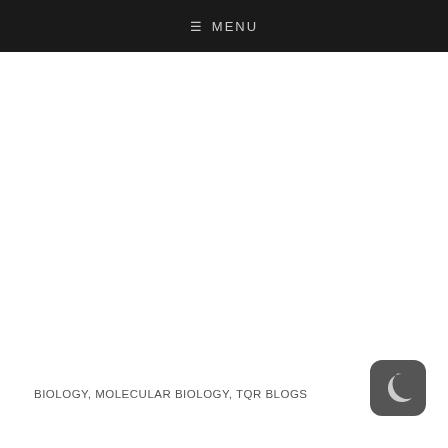≡ MENU
BIOLOGY, MOLECULAR BIOLOGY, TQR BLOGS